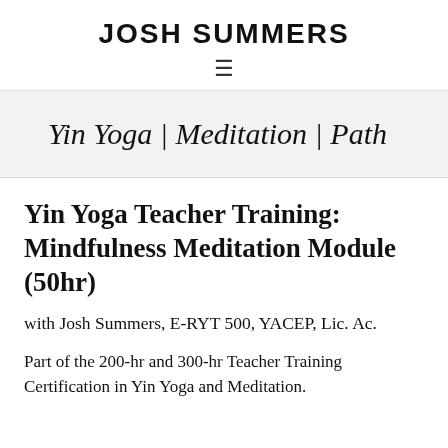JOSH SUMMERS
Yin Yoga | Meditation | Path
Yin Yoga Teacher Training: Mindfulness Meditation Module (50hr)
with Josh Summers, E-RYT 500, YACEP, Lic. Ac.
Part of the 200-hr and 300-hr Teacher Training Certification in Yin Yoga and Meditation.